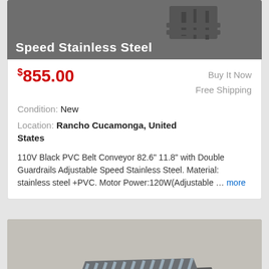[Figure (screenshot): Product listing photo showing a stainless steel belt conveyor with dark background.]
Speed Stainless Steel
$855.00
Buy It Now
Free Shipping
Condition: New
Location: Rancho Cucamonga, United States
110V Black PVC Belt Conveyor 82.6" 11.8" with Double Guardrails Adjustable Speed Stainless Steel. Material: stainless steel +PVC. Motor Power:120W(Adjustable ... more
[Figure (photo): Photo of adjustable roller gravity conveyor on concrete floor, with text overlay reading ADJUSTABLE ROLLER GRAVITY CONVEYOR 10.]